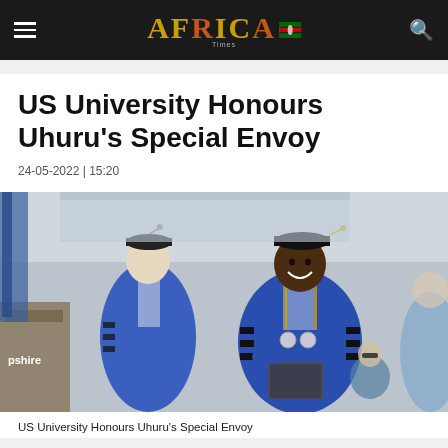AFRICA Times
US University Honours Uhuru's Special Envoy
24-05-2022 | 15:20
[Figure (photo): Two people in blue academic graduation robes and mortarboard caps shaking hands or greeting at a graduation ceremony. One person is holding a diploma folder. A podium with partial text 'pshire' is visible on the left. Additional people in academic regalia are in the background.]
US University Honours Uhuru's Special Envoy